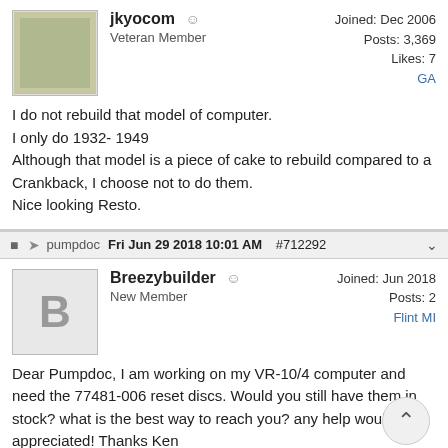jkyocom  Veteran Member  Joined: Dec 2006  Posts: 3,369  Likes: 7  GA
I do not rebuild that model of computer.
I only do 1932- 1949
Although that model is a piece of cake to rebuild compared to a Crankback, I choose not to do them.
Nice looking Resto.
pumpdoc  Fri Jun 29 2018 10:01 AM  #712292
Breezybuilder  New Member  Joined: Jun 2018  Posts: 2  Flint MI
Dear Pumpdoc, I am working on my VR-10/4 computer and need the 77481-006 reset discs. Would you still have them in stock? what is the best way to reach you? any help would be appreciated! Thanks Ken